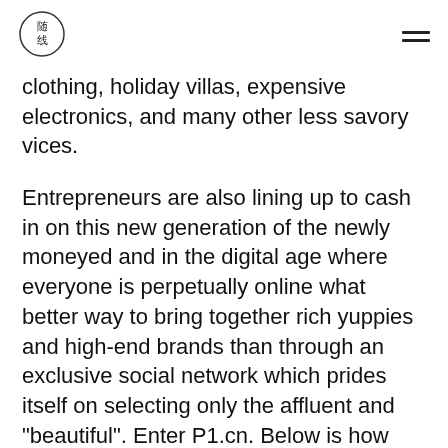随线 [logo] [hamburger menu]
clothing, holiday villas, expensive electronics, and many other less savory vices.
Entrepreneurs are also lining up to cash in on this new generation of the newly moneyed and in the digital age where everyone is perpetually online what better way to bring together rich yuppies and high-end brands than through an exclusive social network which prides itself on selecting only the affluent and “beautiful”. Enter P1.cn. Below is how their email invitation reads:
[Figure (screenshot): Black banner image showing P1.CN logo on the left and text 'Invitation Letter' in white bold with Chinese characters '邀请信' below it in grey.]